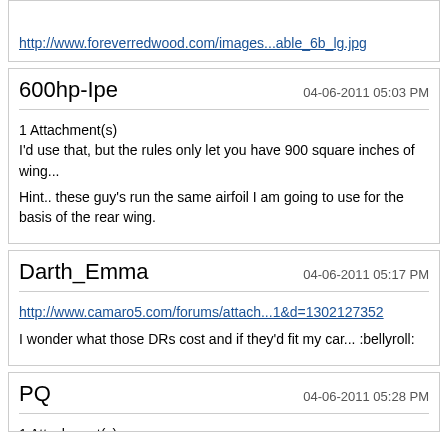http://www.foreverredwood.com/images...able_6b_lg.jpg
600hp-Ipe
04-06-2011 05:03 PM
1 Attachment(s)
I'd use that, but the rules only let you have 900 square inches of wing...

Hint.. these guy's run the same airfoil I am going to use for the basis of the rear wing.
Darth_Emma
04-06-2011 05:17 PM
http://www.camaro5.com/forums/attach...1&d=1302127352

I wonder what those DRs cost and if they'd fit my car... :bellyroll:
PQ
04-06-2011 05:28 PM
1 Attachment(s)